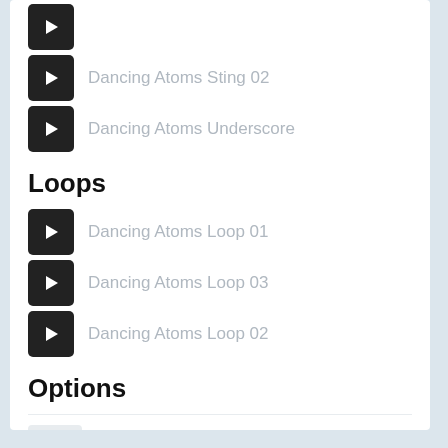Dancing Atoms Sting 02
Dancing Atoms Underscore
Loops
Dancing Atoms Loop 01
Dancing Atoms Loop 03
Dancing Atoms Loop 02
Options
Share
Add to playlist
Add to Favourites
Download